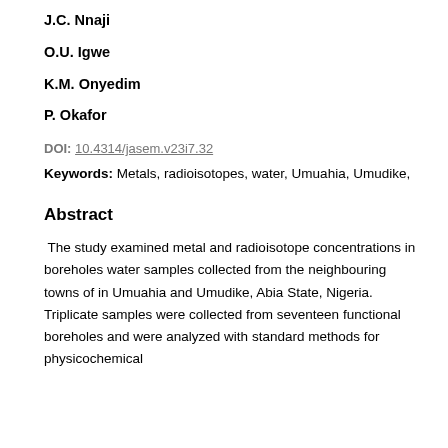J.C. Nnaji
O.U. Igwe
K.M. Onyedim
P. Okafor
DOI: 10.4314/jasem.v23i7.32
Keywords: Metals, radioisotopes, water, Umuahia, Umudike,
Abstract
The study examined metal and radioisotope concentrations in boreholes water samples collected from the neighbouring towns of in Umuahia and Umudike, Abia State, Nigeria. Triplicate samples were collected from seventeen functional boreholes and were analyzed with standard methods for physicochemical